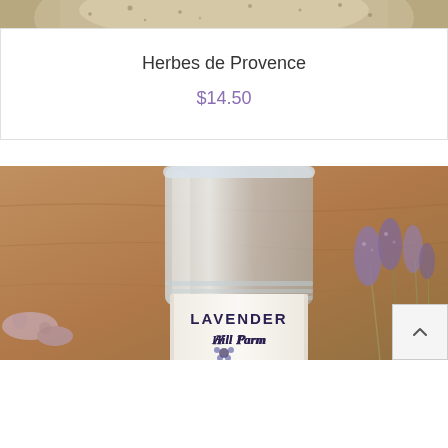[Figure (photo): Top portion of a product photo showing herbs de Provence spice mix in a bowl on a wooden background, cropped at top]
Herbes de Provence
$14.50
[Figure (photo): A Lavender Hill Farm branded deodorant or lotion stick in a clear glass/plastic cylindrical container with a white label, with dried lavender flowers visible on the right side, warm blurred wood background. Label reads LAVENDER Hill Farm with a small logo below.]